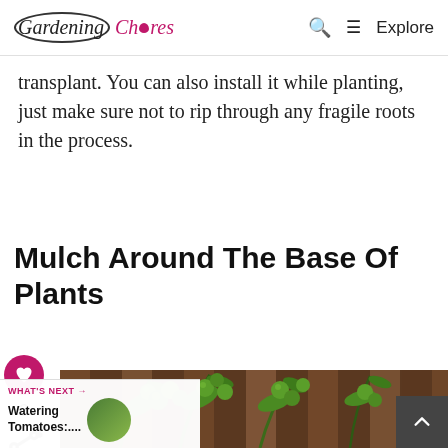Gardening Chores — Q Explore
transplant. You can also install it while planting, just make sure not to rip through any fragile roots in the process.
Mulch Around The Base Of Plants
[Figure (photo): Green tomatoes growing on tomato plants with wooden fence in background]
WHAT'S NEXT → Watering Tomatoes:....